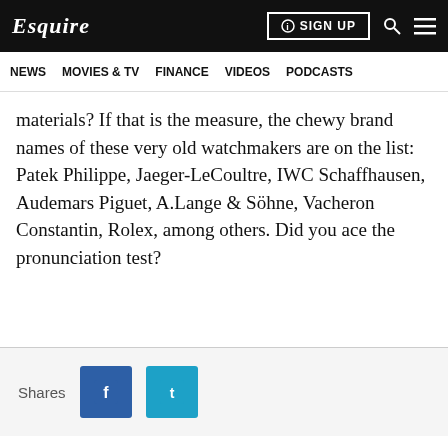Esquire | NEWS | MOVIES & TV | FINANCE | VIDEOS | PODCASTS
materials? If that is the measure, the chewy brand names of these very old watchmakers are on the list: Patek Philippe, Jaeger-LeCoultre, IWC Schaffhausen, Audemars Piguet, A.Lange & Söhne, Vacheron Constantin, Rolex, among others. Did you ace the pronunciation test?
Shares